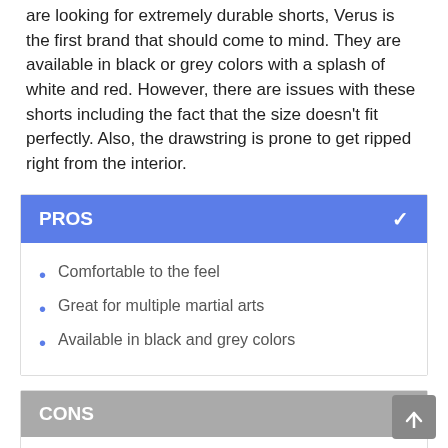are looking for extremely durable shorts, Verus is the first brand that should come to mind. They are available in black or grey colors with a splash of white and red. However, there are issues with these shorts including the fact that the size doesn't fit perfectly. Also, the drawstring is prone to get ripped right from the interior.
PROS
Comfortable to the feel
Great for multiple martial arts
Available in black and grey colors
CONS
Size might prove to be too small